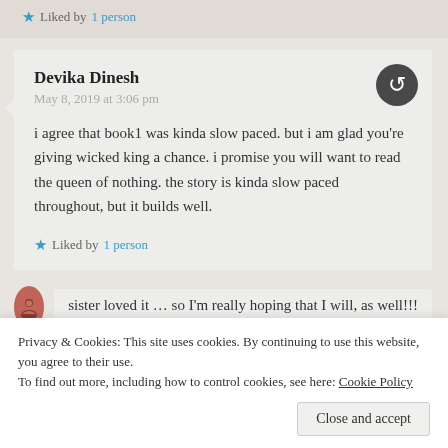Liked by 1 person
Devika Dinesh
May 8, 2019 at 3:06 pm

i agree that book1 was kinda slow paced. but i am glad you're giving wicked king a chance. i promise you will want to read the queen of nothing. the story is kinda slow paced throughout, but it builds well.
Liked by 1 person
Privacy & Cookies: This site uses cookies. By continuing to use this website, you agree to their use.
To find out more, including how to control cookies, see here: Cookie Policy
Close and accept
sister loved it … so I'm really hoping that I will, as well!!!